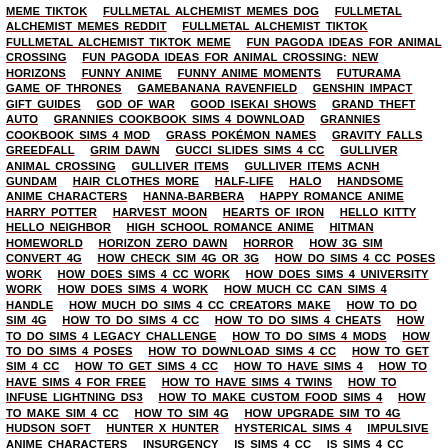MEME TIKTOK   FULLMETAL ALCHEMIST MEMES DOG   FULLMETAL ALCHEMIST MEMES REDDIT   FULLMETAL ALCHEMIST TIKTOK   FULLMETAL ALCHEMIST TIKTOK MEME   FUN PAGODA IDEAS FOR ANIMAL CROSSING   FUN PAGODA IDEAS FOR ANIMAL CROSSING: NEW HORIZONS   FUNNY ANIME   FUNNY ANIME MOMENTS   FUTURAMA   GAME OF THRONES   GAMEBANANA RAVENFIELD   GENSHIN IMPACT   GIFT GUIDES   GOD OF WAR   GOOD ISEKAI SHOWS   GRAND THEFT AUTO   GRANNIES COOKBOOK SIMS 4 DOWNLOAD   GRANNIES COOKBOOK SIMS 4 MOD   GRASS POKÉMON NAMES   GRAVITY FALLS   GREEDFALL   GRIM DAWN   GUCCI SLIDES SIMS 4 CC   GULLIVER ANIMAL CROSSING   GULLIVER ITEMS   GULLIVER ITEMS ACNH   GUNDAM   HAIR CLOTHES MORE   HALF-LIFE   HALO   HANDSOME ANIME CHARACTERS   HANNA-BARBERA   HAPPY ROMANCE ANIME   HARRY POTTER   HARVEST MOON   HEARTS OF IRON   HELLO KITTY   HELLO NEIGHBOR   HIGH SCHOOL ROMANCE ANIME   HITMAN   HOMEWORLD   HORIZON ZERO DAWN   HORROR   HOW 3G SIM CONVERT 4G   HOW CHECK SIM 4G OR 3G   HOW DO SIMS 4 CC POSES WORK   HOW DOES SIMS 4 CC WORK   HOW DOES SIMS 4 UNIVERSITY WORK   HOW DOES SIMS 4 WORK   HOW MUCH CC CAN SIMS 4 HANDLE   HOW MUCH DO SIMS 4 CC CREATORS MAKE   HOW TO DO SIM 4G   HOW TO DO SIMS 4 CC   HOW TO DO SIMS 4 CHEATS   HOW TO DO SIMS 4 LEGACY CHALLENGE   HOW TO DO SIMS 4 MODS   HOW TO DO SIMS 4 POSES   HOW TO DOWNLOAD SIMS 4 CC   HOW TO GET SIM 4 CC   HOW TO GET SIMS 4 CC   HOW TO HAVE SIMS 4   HOW TO HAVE SIMS 4 FOR FREE   HOW TO HAVE SIMS 4 TWINS   HOW TO INFUSE LIGHTNING DS3   HOW TO MAKE CUSTOM FOOD SIMS 4   HOW TO MAKE SIM 4 CC   HOW TO SIM 4G   HOW UPGRADE SIM TO 4G   HUDSON SOFT   HUNTER X HUNTER   HYSTERICAL SIMS 4   IMPULSIVE ANIME CHARACTERS   INSURGENCY   IS SIMS 4 CC   IS SIMS 4 CC FREE   IS SIMS 4 CC LEGAL   IS SIMS 4 CC SAFE   IS SIMS 4 CC SAFE TO DOWNLOAD   IS SIMS 4 COTTAGE LIVING WORTH IT   IS SIMS 4 ECO LIFESTYLE WORTH IT   IS SIMS 4 FREE   IS SIMS 4 GET FAMOUS WORTH IT   IS SIMS 4 ONLINE   IS SIMS 4 SEASONS WORTH IT   IS SIMS 4 WORTH BUYING   IS SIMS 4 WORTH BUYING 2021   IS THERE A